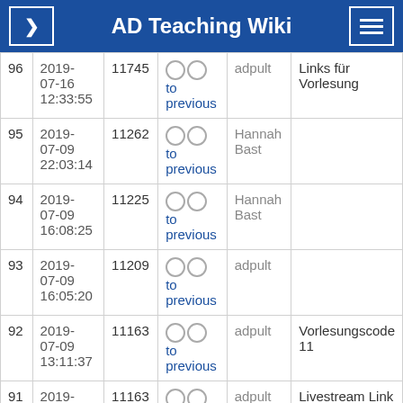AD Teaching Wiki
| # | Date | ID | Compare | User | Comment |
| --- | --- | --- | --- | --- | --- |
| 96 | 2019-07-16 12:33:55 | 11745 | ○ ○ to previous | adpult | Links für Vorlesung |
| 95 | 2019-07-09 22:03:14 | 11262 | ○ ○ to previous | Hannah Bast |  |
| 94 | 2019-07-09 16:08:25 | 11225 | ○ ○ to previous | Hannah Bast |  |
| 93 | 2019-07-09 16:05:20 | 11209 | ○ ○ to previous | adpult |  |
| 92 | 2019-07-09 13:11:37 | 11163 | ○ ○ to previous | adpult | Vorlesungscode 11 |
| 91 | 2019- |  | 11163 | ○ ○ to | adpult | Livestream Link |